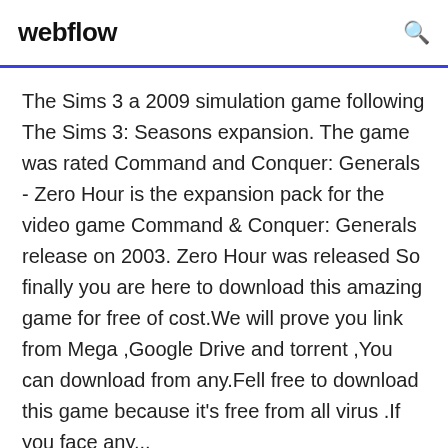webflow
The Sims 3 a 2009 simulation game following The Sims 3: Seasons expansion. The game was rated Command and Conquer: Generals - Zero Hour is the expansion pack for the video game Command & Conquer: Generals release on 2003. Zero Hour was released So finally you are here to download this amazing game for free of cost.We will prove you link from Mega ,Google Drive and torrent ,You can download from any.Fell free to download this game because it’s free from all virus .If you face any...
Dragon Age: Inquisition is a role-playing action video game developed by BioWare and